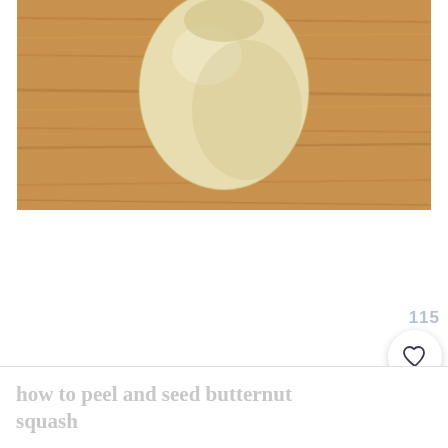[Figure (photo): A whole butternut squash placed on a wooden cutting board, viewed from above. The squash is pale cream/yellow colored and the board has a warm wood grain texture.]
115
how to peel and seed butternut squash